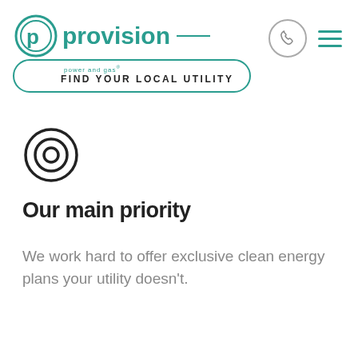[Figure (logo): Provision Power and Gas logo with teal circular P icon, company name in teal, and 'Find Your Local Utility' pill-shaped button]
[Figure (illustration): Circular target/bullseye icon in black outline]
Our main priority
We work hard to offer exclusive clean energy plans your utility doesn't.